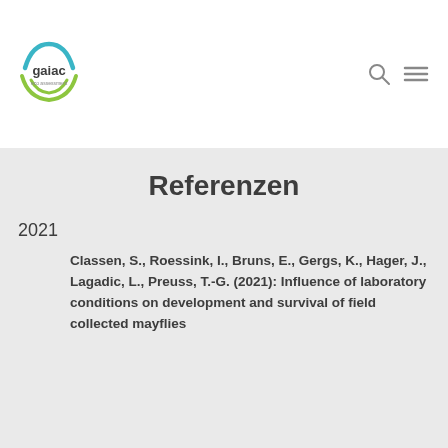[Figure (logo): gaiac eco assessment circular logo with blue/green arcs and stylized text]
Referenzen
2021
Classen, S., Roessink, I., Bruns, E., Gergs, K., Hager, J., Lagadic, L., Preuss, T.-G. (2021): Influence of laboratory conditions on development and survival of field collected mayflies